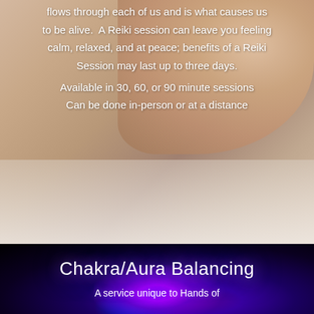flows through each of us and is what causes us to be alive. A Reiki session can leave you feeling calm, relaxed, and at peace; benefits of a Reiki Session may last up to three days.
Available in 30, 60, or 90 minute sessions
Can be done in-person or at a distance
[Figure (photo): Background photo of a woman lying down with blonde hair on white pillow, suggesting a relaxation or wellness treatment]
[Figure (photo): Dark background with purple and blue glowing orbs suggesting chakra energy visualization]
Chakra/Aura Balancing
A service unique to Hands of